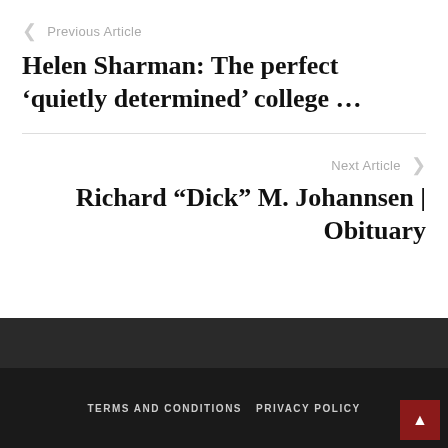Previous Article
Helen Sharman: The perfect ‘quietly determined’ college …
Next Article
Richard “Dick” M. Johannsen | Obituary
TERMS AND CONDITIONS   PRIVACY POLICY